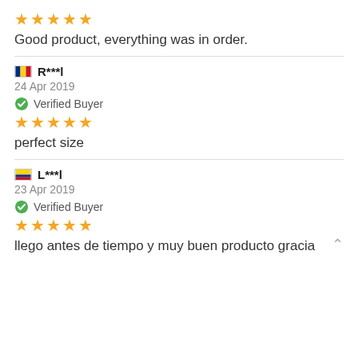★★★★★
Good product, everything was in order.
R***l — 24 Apr 2019 — Verified Buyer — ★★★★★
perfect size
L***l — 23 Apr 2019 — Verified Buyer — ★★★★★
llego antes de tiempo y muy buen producto gracia